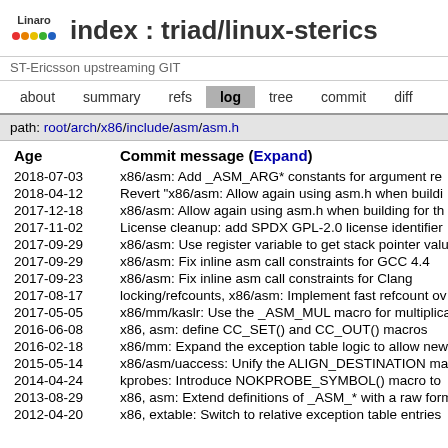index : triad/linux-sterics
ST-Ericsson upstreaming GIT
about  summary  refs  log  tree  commit  diff
path: root/arch/x86/include/asm/asm.h
| Age | Commit message (Expand) |
| --- | --- |
| 2018-07-03 | x86/asm: Add _ASM_ARG* constants for argument re... |
| 2018-04-12 | Revert "x86/asm: Allow again using asm.h when buildi... |
| 2017-12-18 | x86/asm: Allow again using asm.h when building for th... |
| 2017-11-02 | License cleanup: add SPDX GPL-2.0 license identifier... |
| 2017-09-29 | x86/asm: Use register variable to get stack pointer valu... |
| 2017-09-29 | x86/asm: Fix inline asm call constraints for GCC 4.4 |
| 2017-09-23 | x86/asm: Fix inline asm call constraints for Clang |
| 2017-08-17 | locking/refcounts, x86/asm: Implement fast refcount ov... |
| 2017-05-05 | x86/mm/kaslr: Use the _ASM_MUL macro for multiplica... |
| 2016-06-08 | x86, asm: define CC_SET() and CC_OUT() macros |
| 2016-02-18 | x86/mm: Expand the exception table logic to allow new... |
| 2015-05-14 | x86/asm/uaccess: Unify the ALIGN_DESTINATION ma... |
| 2014-04-24 | kprobes: Introduce NOKPROBE_SYMBOL() macro to... |
| 2013-08-29 | x86, asm: Extend definitions of _ASM_* with a raw form... |
| 2012-04-20 | x86, extable: Switch to relative exception table entries... |